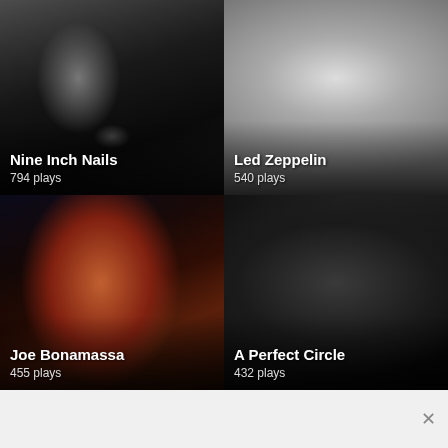[Figure (photo): Black and white photo of Nine Inch Nails performer on stage with microphone]
Nine Inch Nails
794 plays
[Figure (photo): Black and white group photo of Led Zeppelin band members]
Led Zeppelin
540 plays
[Figure (photo): Colorful photo of Joe Bonamassa playing electric guitar]
Joe Bonamassa
455 plays
[Figure (photo): Dark photo of A Perfect Circle band members standing together]
A Perfect Circle
432 plays